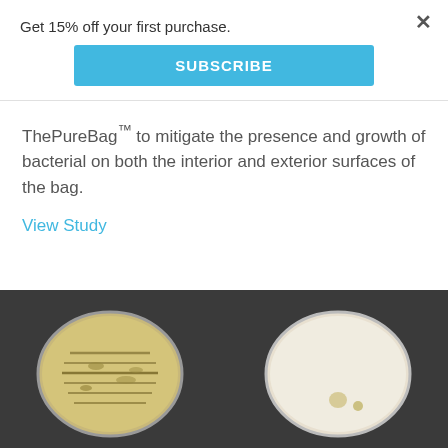Get 15% off your first purchase.
SUBSCRIBE
ThePureBag™ to mitigate the presence and growth of bacterial on both the interior and exterior surfaces of the bag.
View Study
[Figure (photo): Two petri dishes side by side on dark background. Left dish shows heavy bacterial growth with visible colonies/streaks on yellowish agar. Right dish shows minimal bacterial growth (nearly clear agar with only 2 small colonies visible), demonstrating the antibacterial effect of ThePureBag.]